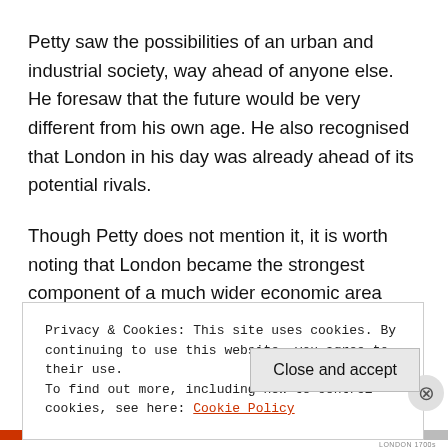Petty saw the possibilities of an urban and industrial society, way ahead of anyone else. He foresaw that the future would be very different from his own age. He also recognised that London in his day was already ahead of its potential rivals.
Though Petty does not mention it, it is worth noting that London became the strongest component of a much wider economic area embracing a huge chunk of
Privacy & Cookies: This site uses cookies. By continuing to use this website, you agree to their use.
To find out more, including how to control cookies, see here: Cookie Policy